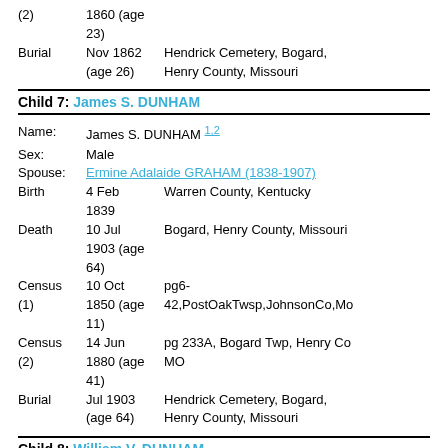(2)   1860 (age 23)
Burial   Nov 1862 (age 26)   Hendrick Cemetery, Bogard, Henry County, Missouri
Child 7: James S. DUNHAM
Name: James S. DUNHAM 1,2
Sex: Male
Spouse: Ermine Adalaide GRAHAM (1838-1907)
Birth   4 Feb 1839   Warren County, Kentucky
Death   10 Jul 1903 (age 64)   Bogard, Henry County, Missouri
Census (1)   10 Oct 1850 (age 11)   pg6-42,PostOakTwsp,JohnsonCo,Mo
Census (2)   14 Jun 1880 (age 41)   pg 233A, Bogard Twp, Henry Co MO
Burial   Jul 1903 (age 64)   Hendrick Cemetery, Bogard, Henry County, Missouri
Child 8: William V. DUNHAM
Name: William V. DUNHAM 1,2
Sex: Male
Birth   1842 (app)   Warren County, Kentucky
Census   10 Oct 1850 (age   pg6-42,PostOakTwsp,JohnsonCo,Mo